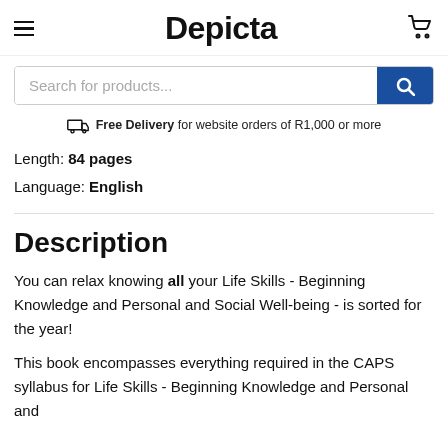Depicta
Search for products...
Free Delivery for website orders of R1,000 or more
Length: 84 pages
Language: English
Description
You can relax knowing all your Life Skills - Beginning Knowledge and Personal and Social Well-being - is sorted for the year!
This book encompasses everything required in the CAPS syllabus for Life Skills - Beginning Knowledge and Personal and